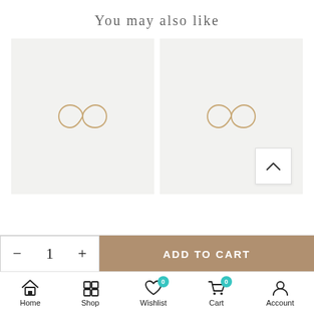You may also like
[Figure (photo): Two product cards side by side, each with a light gray background showing a gold infinity symbol in the center. A white scroll-to-top button with an up chevron is overlaid on the bottom-right of the right card.]
- 1 +   ADD TO CART
Home   Shop   Wishlist 0   Cart 0   Account